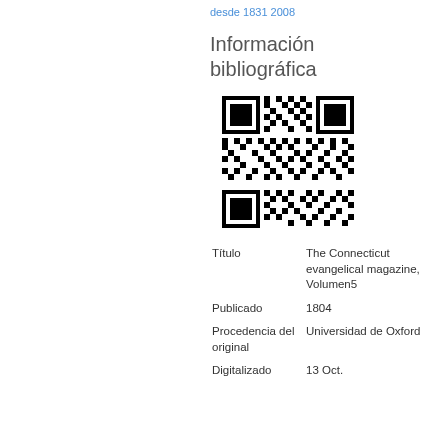desde 1831 2008
Información bibliográfica
[Figure (other): QR code linking to bibliographic information]
| Field | Value |
| --- | --- |
| Título | The Connecticut evangelical magazine, Volumen5 |
| Publicado | 1804 |
| Procedencia del original | Universidad de Oxford |
| Digitalizado | 13 Oct. |